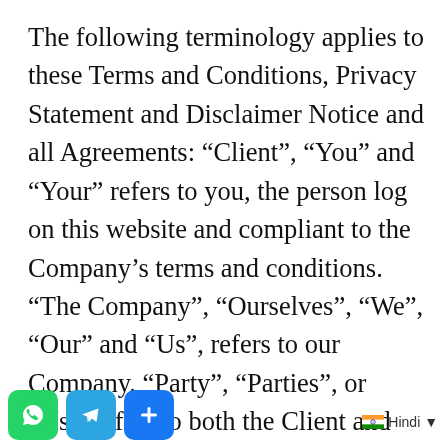The following terminology applies to these Terms and Conditions, Privacy Statement and Disclaimer Notice and all Agreements: “Client”, “You” and “Your” refers to you, the person log on this website and compliant to the Company’s terms and conditions. “The Company”, “Ourselves”, “We”, “Our” and “Us”, refers to our Company. “Party”, “Parties”, or “Us”, refers to both the Client and ourselves. All terms refer to the offer, acceptance and consideration of payment necessary to undertake the process of our assistance to the Client in the most appropriate manner for the express purpose of meeting the Client’s needs in respect of provision of the Company’s stated services, in accordance with and subject to,